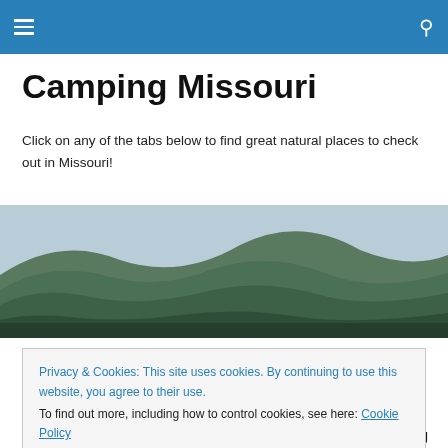☰ [menu] [search]
Camping Missouri
Click on any of the tabs below to find great natural places to check out in Missouri!
[Figure (photo): Panoramic landscape photo of rolling forested hills under a pale blue sky in Missouri]
Privacy & Cookies: This site uses cookies. By continuing to use this website, you agree to their use.
To find out more, including how to control cookies, see here: Cookie Policy
[Close and accept button]
of hiking and camping? We have all we need surrounding